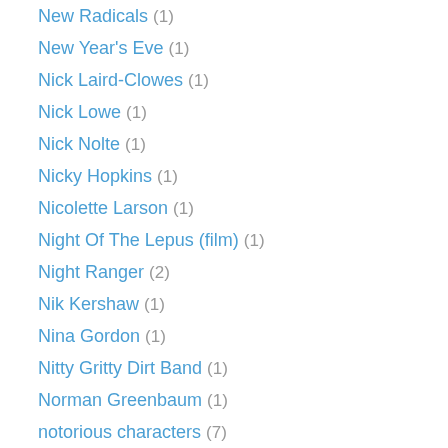New Radicals (1)
New Year's Eve (1)
Nick Laird-Clowes (1)
Nick Lowe (1)
Nick Nolte (1)
Nicky Hopkins (1)
Nicolette Larson (1)
Night Of The Lepus (film) (1)
Night Ranger (2)
Nik Kershaw (1)
Nina Gordon (1)
Nitty Gritty Dirt Band (1)
Norman Greenbaum (1)
notorious characters (7)
Nuclear Valdez (1)
Nusrat Fateh Ali Khan (1)
Oakland Raiders (2)
Oasis (1)
October (1)
Oingo Boingo (2)